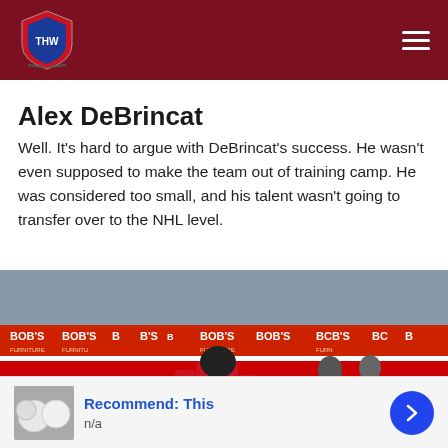THW (The Hockey Writers) site header with logo and navigation menu
Alex DeBrincat
Well. It's hard to argue with DeBrincat's success. He wasn't even supposed to make the team out of training camp. He was considered too small, and his talent wasn't going to transfer over to the NHL level.
[Figure (photo): Alex DeBrincat wearing Chicago Blackhawks jersey number 12 in red, on ice at an NHL game, with Bob's Furniture and BMO advertising boards in the background. Jimmy Dean logo visible on the dasher board.]
Recommend: This
n/a